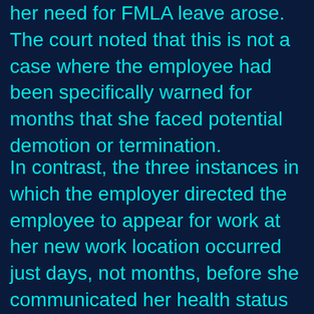her need for FMLA leave arose. The court noted that this is not a case where the employee had been specifically warned for months that she faced potential demotion or termination.
In contrast, the three instances in which the employer directed the employee to appear for work at her new work location occurred just days, not months, before she communicated her health status to the employer. The court was not convinced that the employee's termination was